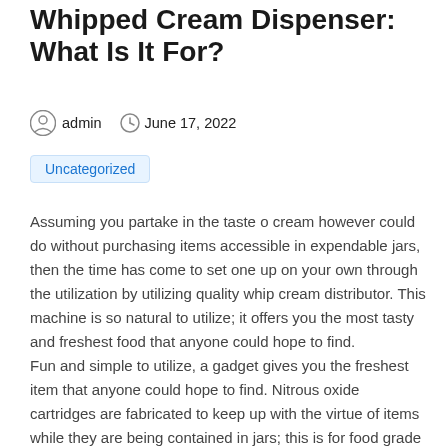Whipped Cream Dispenser: What Is It For?
admin   June 17, 2022
Uncategorized
Assuming you partake in the taste o cream however could do without purchasing items accessible in expendable jars, then the time has come to set one up on your own through the utilization by utilizing quality whip cream distributor. This machine is so natural to utilize; it offers you the most tasty and freshest food that anyone could hope to find.
Fun and simple to utilize, a gadget gives you the freshest item that anyone could hope to find. Nitrous oxide cartridges are fabricated to keep up with the virtue of items while they are being contained in jars; this is for food grade applications. It is